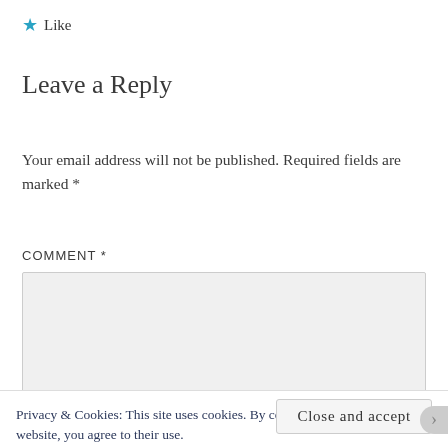★ Like
Leave a Reply
Your email address will not be published. Required fields are marked *
COMMENT *
Privacy & Cookies: This site uses cookies. By continuing to use this website, you agree to their use.
To find out more, including how to control cookies, see here:
Cookie Policy
Close and accept